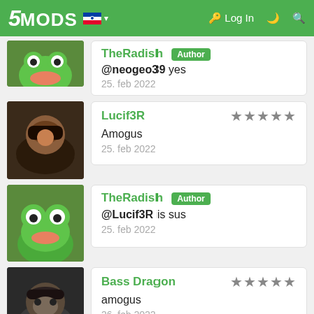5MODS | Log In
@neogeo39 yes
25. feb 2022
Lucif3R ★★★★★
Amogus
25. feb 2022
TheRadish [Author]
@Lucif3R is sus
25. feb 2022
Bass Dragon ★★★★★
amogus
26. feb 2022
TheRadish [Author]
@Sealyx The meme society, by theodore zhong xina